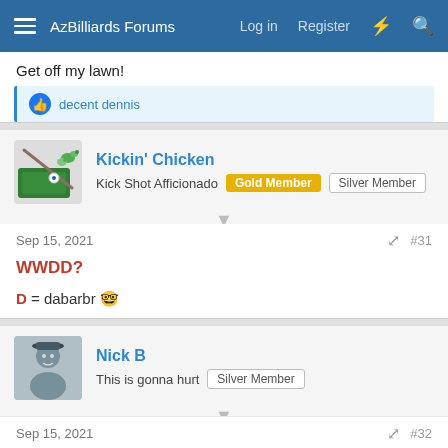AzBilliards Forums  Log in  Register
Get off my lawn!
👍 decent dennis
Kickin' Chicken
Kick Shot Afficionado  Gold Member  Silver Member
Sep 15, 2021  #31
WWDD?
D = dabarbr 🤓
Nick B
This is gonna hurt  Silver Member
Sep 15, 2021  #32